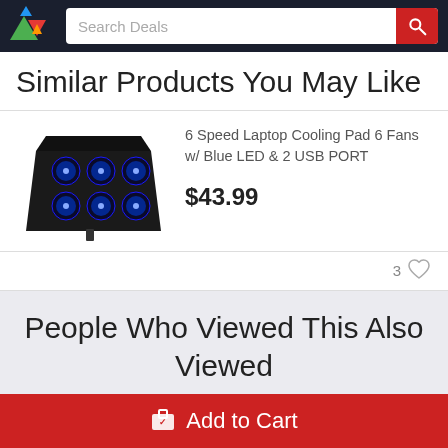Search Deals
Similar Products You May Like
[Figure (photo): Laptop cooling pad with 6 blue LED fans and adjustable stand, black color]
6 Speed Laptop Cooling Pad 6 Fans w/ Blue LED & 2 USB PORT
$43.99
3 ♡
People Who Viewed This Also Viewed
Add to Cart